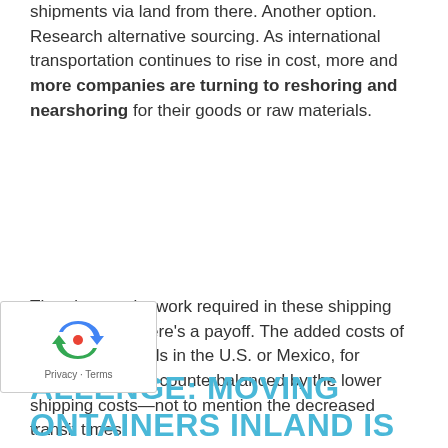shipments via land from there. Another option. Research alternative sourcing. As international transportation continues to rise in cost, more and more companies are turning to reshoring and nearshoring for their goods or raw materials.
There's extra legwork required in these shipping solutions, but there's a payoff. The added costs of sourcing materials in the U.S. or Mexico, for example, can be counterbalanced by the lower shipping costs—not to mention the decreased transit times.
ALLENGE: MOVING ONTAINERS INLAND IS